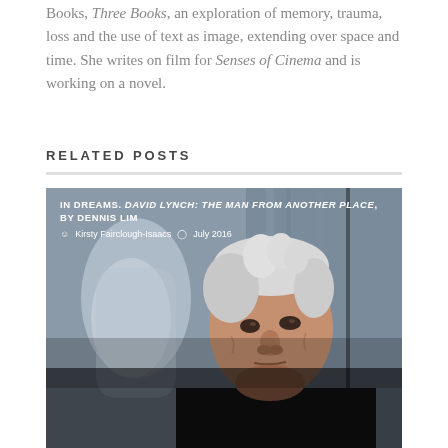Books, Three Books, an exploration of memory, trauma, loss and the use of text as image, extending over space and time. She writes on film for Senses of Cinema and is working on a novel.
RELATED POSTS
[Figure (photo): Portrait photograph of an elderly man with distinctive white hair, looking directly at the camera with a serious expression, against a textured grey wall background. A blurred figure appears on the left side.]
IN DREAMS. DAVID LYNCH: THE MAN FROM ANOTHER PLACE, BY DENNIS LIM
Kirsty Fairclough-Isaacs  July 2016